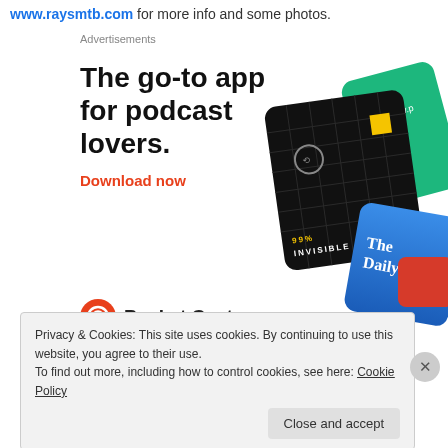www.raysmtb.com for more info and some photos.
Advertisements
[Figure (screenshot): Pocket Casts app advertisement showing podcast app cards (99% Invisible, The Daily, and another green card) with headline 'The go-to app for podcast lovers.' and 'Download now' call to action in red, with Pocket Casts logo at bottom left.]
Privacy & Cookies: This site uses cookies. By continuing to use this website, you agree to their use.
To find out more, including how to control cookies, see here: Cookie Policy
Close and accept